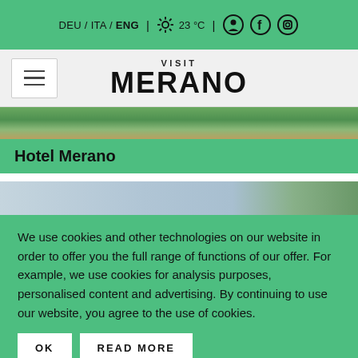DEU / ITA / ENG | ☀ 23 °C | [icons]
VISIT MERANO
[Figure (photo): Aerial photo of Merano with trees and buildings]
Hotel Merano
[Figure (photo): Aerial/landscape photo with sky, water and hills]
We use cookies and other technologies on our website in order to offer you the full range of functions of our offer. For example, we use cookies for analysis purposes, personalised content and advertising. By continuing to use our website, you agree to the use of cookies.
OK   READ MORE